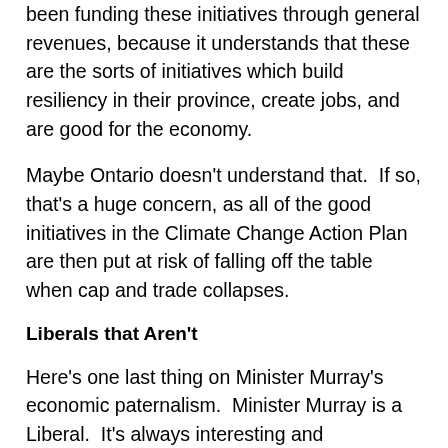been funding these initiatives through general revenues, because it understands that these are the sorts of initiatives which build resiliency in their province, create jobs, and are good for the economy.
Maybe Ontario doesn't understand that.  If so, that's a huge concern, as all of the good initiatives in the Climate Change Action Plan are then put at risk of falling off the table when cap and trade collapses.
Liberals that Aren't
Here's one last thing on Minister Murray's economic paternalism.  Minister Murray is a Liberal.  It's always interesting and entertaining to me that the Party of laissez faire capitalism has decided to champion a father-knows-best approach to carbon pricing, rather than giving consumers the power to make their own decisions in a market that has seen its playing field leveled through a carbon tax.  Liberals ought to have some faith in our businesses and industries to innovate in the face of a changing market that sees consumers with more buying power looking for goods and services that provide the best